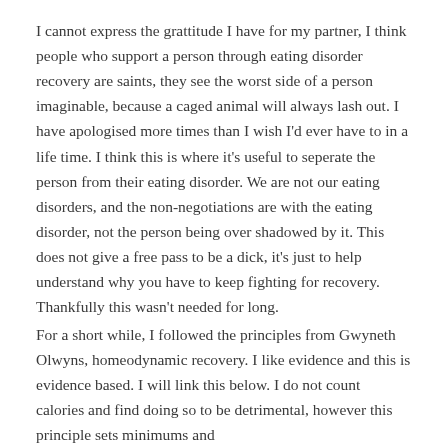I cannot express the grattitude I have for my partner, I think people who support a person through eating disorder recovery are saints, they see the worst side of a person imaginable, because a caged animal will always lash out. I have apologised more times than I wish I'd ever have to in a life time. I think this is where it's useful to seperate the person from their eating disorder. We are not our eating disorders, and the non-negotiations are with the eating disorder, not the person being over shadowed by it. This does not give a free pass to be a dick, it's just to help understand why you have to keep fighting for recovery. Thankfully this wasn't needed for long.
For a short while, I followed the principles from Gwyneth Olwyns, homeodynamic recovery. I like evidence and this is evidence based. I will link this below. I do not count calories and find doing so to be detrimental, however this principle sets minimums and